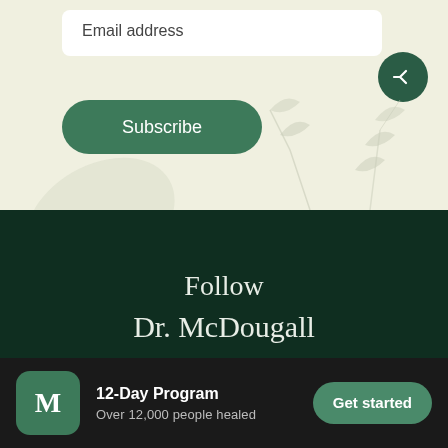Email address
Subscribe
Follow
Dr. McDougall
[Figure (illustration): Three social media icon circles (Twitter/X, Facebook, Instagram) in muted green on dark green background]
12-Day Program
Over 12,000 people healed
Get started